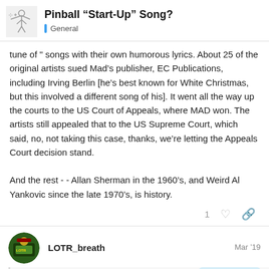Pinball “Start-Up” Song? | General
tune of " songs with their own humorous lyrics. About 25 of the original artists sued Mad’s publisher, EC Publications, including Irving Berlin [he’s best known for White Christmas, but this involved a different song of his]. It went all the way up the courts to the US Court of Appeals, where MAD won. The artists still appealed that to the US Supreme Court, which said, no, not taking this case, thanks, we’re letting the Appeals Court decision stand.

And the rest - - Allan Sherman in the 1960’s, and Weird Al Yankovic since the late 1970’s, is history.
LOTR_breath Mar ’19
BMU:
14 / 16